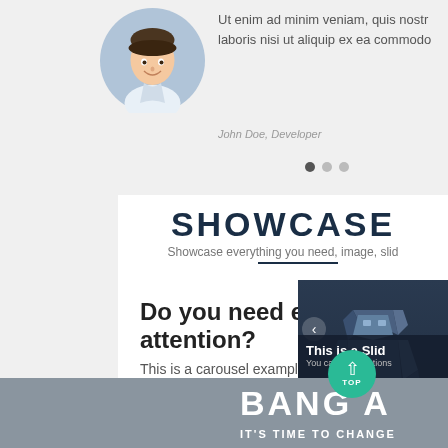[Figure (photo): Circular avatar photo of a young man in a light blue shirt, smiling, on a grey background]
Ut enim ad minim veniam, quis nostro laboris nisi ut aliquip ex ea commodo
John Doe, Developer
SHOWCASE
Showcase everything you need, image, slid
Do you need extra attention?
This is a carousel example...
Unde, vero voluptas delectus explicabo maxime ad qui incidunt! Saepe, dolor, consequatur, distinctio incidunt unde fuga expedita ducimus maiores tempora quis vitae?
Launch Modal Box
[Figure (screenshot): Slide panel showing a 3D low-poly robot/figure in dark blue background with caption 'This is a Slid' and 'You can add captions']
BANG A ON
IT'S TIME TO CHANGE